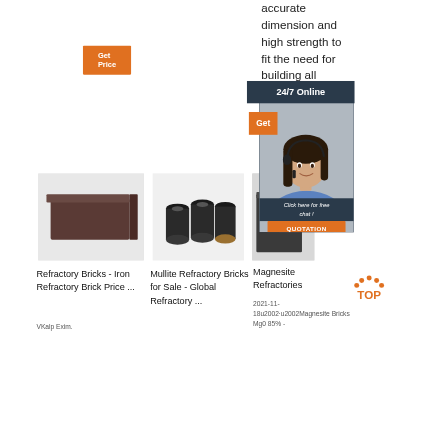[Figure (screenshot): Orange 'Get Price' button]
accurate dimension and high strength to fit the need for building all
[Figure (screenshot): 24/7 Online chat support banner with woman wearing headset, Click here for free chat!, QUOTATION button]
[Figure (photo): Refractory brick - dark brown rectangular brick]
[Figure (photo): Mullite refractory bricks - black cylindrical components]
[Figure (photo): Magnesite refractory brick - dark gray block]
Refractory Bricks - Iron Refractory Brick Price ...
VKalp Exim.
Mullite Refractory Bricks for Sale - Global Refractory ...
Magnesite Refractories
2021-11-18u2002·u2002Magnesite Bricks Mg0 85% -